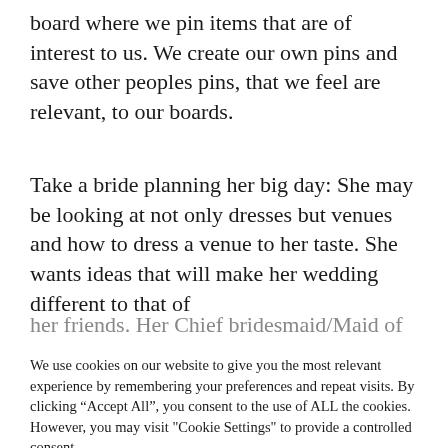board where we pin items that are of interest to us. We create our own pins and save other peoples pins, that we feel are relevant, to our boards.
Take a bride planning her big day: She may be looking at not only dresses but venues and how to dress a venue to her taste. She wants ideas that will make her wedding different to that of her friends. Her Chief bridesmaid/Maid of
We use cookies on our website to give you the most relevant experience by remembering your preferences and repeat visits. By clicking “Accept All”, you consent to the use of ALL the cookies. However, you may visit "Cookie Settings" to provide a controlled consent.